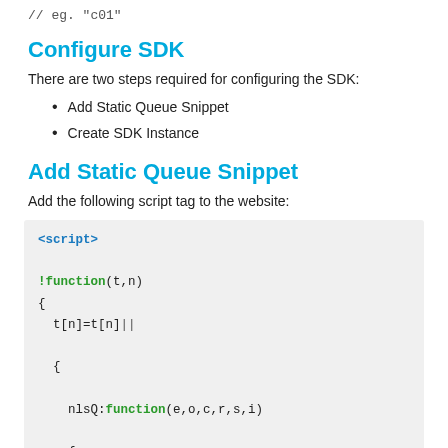// eg. "c01"
Configure SDK
There are two steps required for configuring the SDK:
Add Static Queue Snippet
Create SDK Instance
Add Static Queue Snippet
Add the following script tag to the website:
<script>
!function(t,n)
{
  t[n]=t[n]||
  {
    nlsQ:function(e,o,c,r,s,i)
    {
      return s=t.document,
      r=s.createElement("script"),